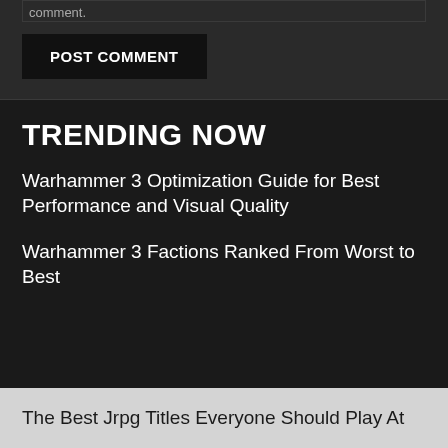comment.
POST COMMENT
TRENDING NOW
Warhammer 3 Optimization Guide for Best Performance and Visual Quality
Warhammer 3 Factions Ranked From Worst to Best
The Best Jrpg Titles Everyone Should Play At